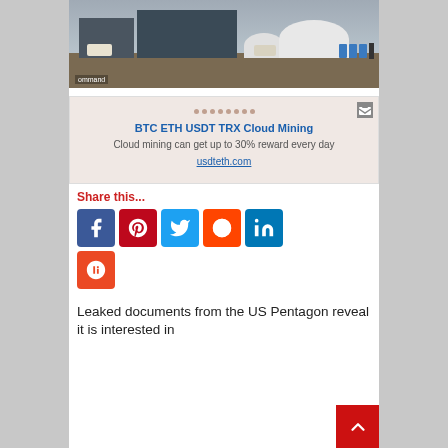[Figure (photo): Aerial or ground-level photo of a military or industrial compound with structures, domes, vehicles, and barrels under cloudy sky. Watermark text 'ommand' visible at bottom left.]
[Figure (other): Advertisement box with pinkish background. Title: BTC ETH USDT TRX Cloud Mining. Subtitle: Cloud mining can get up to 30% reward every day. Link: usdteth.com]
Share this...
[Figure (other): Row of social media share icons: Facebook (blue), Pinterest (red), Twitter (cyan), Reddit (orange), LinkedIn (blue). Second row: StumbleUpon (orange-red).]
Leaked documents from the US Pentagon reveal it is interested in